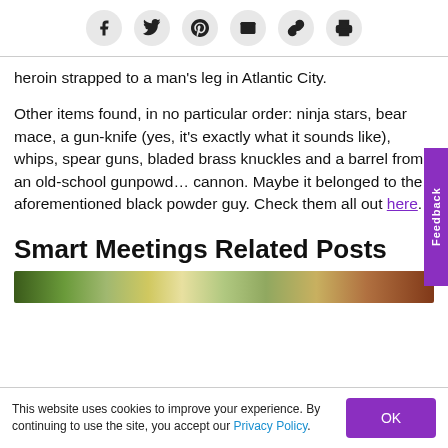[Figure (other): Social share icons row: Facebook, Twitter, Pinterest, Email, Link, Print]
heroin strapped to a man's leg in Atlantic City.
Other items found, in no particular order: ninja stars, bear mace, a gun-knife (yes, it's exactly what it sounds like), whips, spear guns, bladed brass knuckles and a barrel from an old-school gunpowder cannon. Maybe it belonged to the aforementioned black powder guy. Check them all out here.
Smart Meetings Related Posts
[Figure (photo): Partial photo strip showing outdoor scene with greenery and buildings]
This website uses cookies to improve your experience. By continuing to use the site, you accept our Privacy Policy.